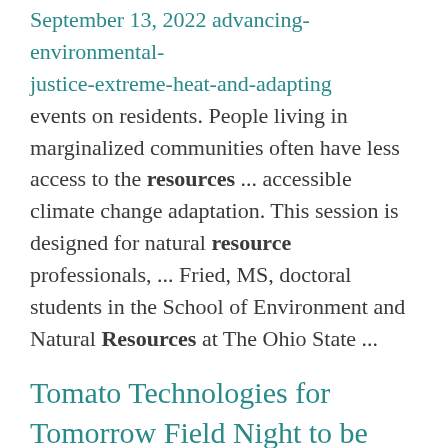September 13, 2022 advancing-environmental-justice-extreme-heat-and-adapting events on residents. People living in marginalized communities often have less access to the resources ... accessible climate change adaptation. This session is designed for natural resource professionals, ... Fried, MS, doctoral students in the School of Environment and Natural Resources at The Ohio State ...
Tomato Technologies for Tomorrow Field Night to be Held on Aug. 16
https://extops.cfaes.ohio-state.edu/newsletter/news-and-notes/august-5...